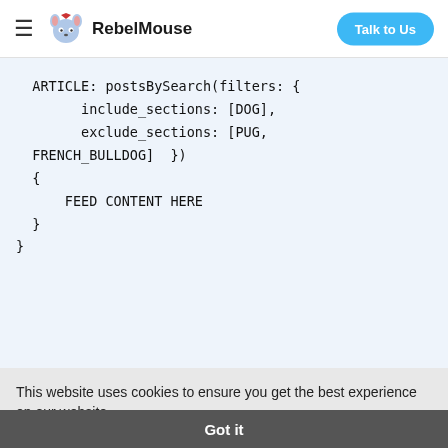RebelMouse  Talk to Us
[Figure (screenshot): Code block showing GraphQL-style query: ARTICLE: postsBySearch(filters: { include_sections: [DOG], exclude_sections: [PUG, FRENCH_BULLDOG] }) { FEED CONTENT HERE }]
This website uses cookies to ensure you get the best experience on our website. Learn more
Got it
[Figure (screenshot): Partially visible bottom code line: BODY])]